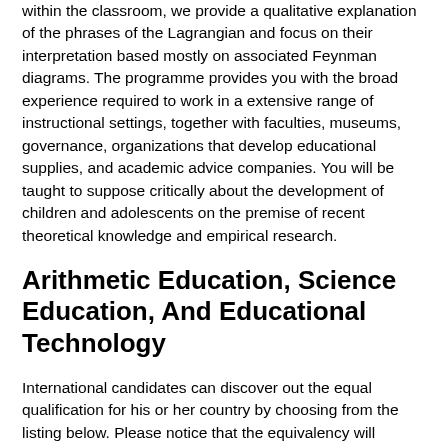within the classroom, we provide a qualitative explanation of the phrases of the Lagrangian and focus on their interpretation based mostly on associated Feynman diagrams. The programme provides you with the broad experience required to work in a extensive range of instructional settings, together with faculties, museums, governance, organizations that develop educational supplies, and academic advice companies. You will be taught to suppose critically about the development of children and adolescents on the premise of recent theoretical knowledge and empirical research.
Arithmetic Education, Science Education, And Educational Technology
International candidates can discover out the equal qualification for his or her country by choosing from the listing below. Please notice that the equivalency will correspond to the broad UK degree classification